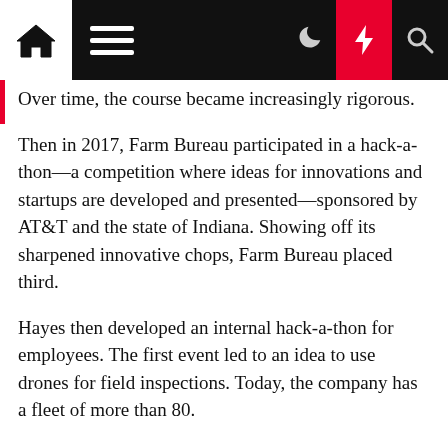[Navigation bar with home, menu, moon, bolt, search icons]
Over time, the course became increasingly rigorous.
Then in 2017, Farm Bureau participated in a hack-a-thon—a competition where ideas for innovations and startups are developed and presented—sponsored by AT&T and the state of Indiana. Showing off its sharpened innovative chops, Farm Bureau placed third.
Hayes then developed an internal hack-a-thon for employees. The first event led to an idea to use drones for field inspections. Today, the company has a fleet of more than 80.
In 2018, Farm Bureau's second hack-a-thon focused on internet of things technology. Hayes was part of a four-person team that included Robert Taggart, Farm Bureau's manager of claims litigation, and